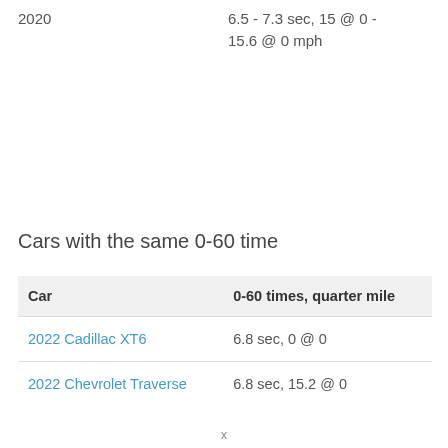2020
6.5 - 7.3 sec, 15 @ 0 - 15.6 @ 0 mph
Cars with the same 0-60 time
| Car | 0-60 times, quarter mile |
| --- | --- |
| 2022 Cadillac XT6 | 6.8 sec, 0 @ 0 |
| 2022 Chevrolet Traverse | 6.8 sec, 15.2 @ 0 |
x